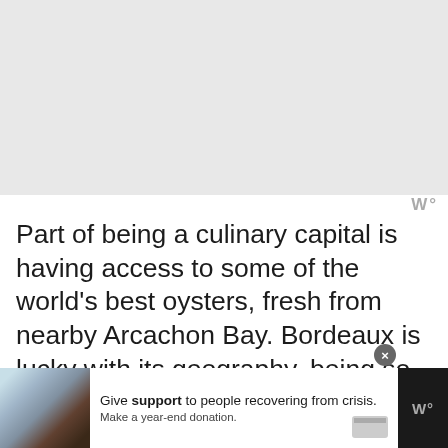[Figure (other): Gray empty image placeholder area at top of page]
W°
Part of being a culinary capital is having access to some of the world’s best oysters, fresh from nearby Arcachon Bay. Bordeaux is lucky with its geography, being so close to fabulous soil for vineyards, and the Atlantic ocean for sumptuous oysters: it helps that the two go hand in hand! In the cit 1 of Bordeaux, and in the wider region, you will find an abundance of delicious
[Figure (other): Advertisement banner at bottom: image of two hands clasped together on left, text reads 'Give support to people recovering from crisis. Make a year-end donation.' with close button and payment icon. Logo W° on right.]